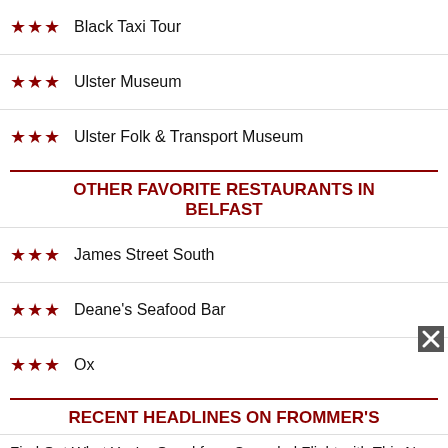★★★ Black Taxi Tour
★★★ Ulster Museum
★★★ Ulster Folk & Transport Museum
OTHER FAVORITE RESTAURANTS IN BELFAST
★★★ James Street South
★★★ Deane's Seafood Bar
★★★ Ox
RECENT HEADLINES ON FROMMER'S
Find Out What You're Owed for a Canceled Flight with This New Online Tool
Lawsuits Against Hertz/Dollar for False Rental Car Arrests to Reach the "Hundreds"
What Will Fall Foliage Be Like in 2022? Predictions from an Expert